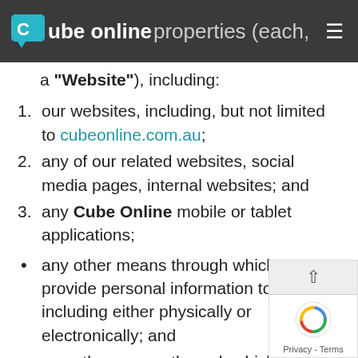Cube online — properties (each, a "Website"), including:
a "Website"), including:
our websites, including, but not limited to cubeonline.com.au;
any of our related websites, social media pages, internal websites; and
any Cube Online mobile or tablet applications;
any other means through which you provide personal information to us, including either physically or electronically; and
any other means through which we